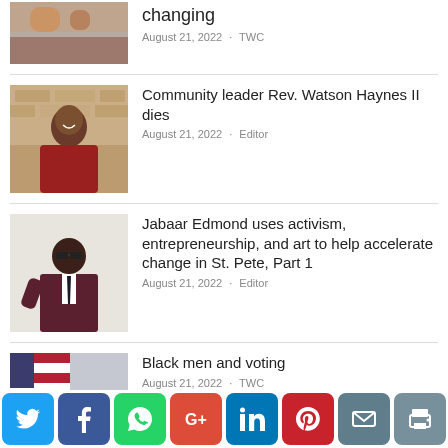[Figure (photo): Partial image of a crowd scene, cropped at top]
changing
August 21, 2022 · TWC
[Figure (photo): Man in red shirt smiling against stone wall background]
Community leader Rev. Watson Haynes II dies
August 21, 2022 · Editor
[Figure (photo): Man in suit with sunglasses posing against white background]
Jabaar Edmond uses activism, entrepreneurship, and art to help accelerate change in St. Pete, Part 1
August 21, 2022 · Editor
[Figure (photo): Person signing document at table with American flag in background]
Black men and voting
August 21, 2022 · TWC